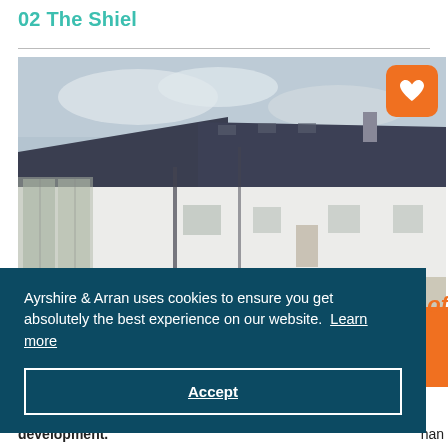02 The Shiel
[Figure (photo): Exterior photo of The Shiel, a white-walled Scottish cottage with dark slate roof, large glass doors on the left, set on a gravel courtyard with overcast sky. Orange heart/favourite button in top-right corner.]
Ayrshire & Arran uses cookies to ensure you get absolutely the best experience on our website. Learn more
Accept
e of
han development.